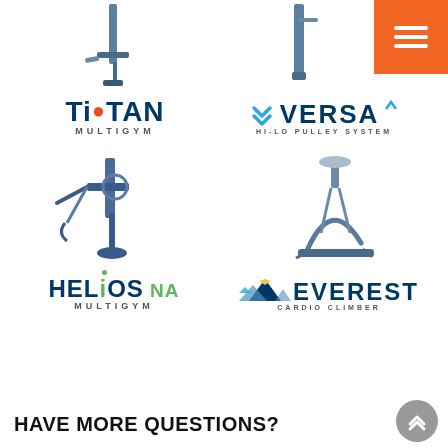[Figure (photo): Titan Multigym product photo top left, showing a weight stack machine]
[Figure (logo): TITAN MULTIGYM logo]
[Figure (photo): Versa Hi-Lo Pulley System product photo top right]
[Figure (logo): VERSA HI-LO PULLEY SYSTEM logo]
[Figure (photo): Helios NA Multigym product photo middle left]
[Figure (logo): HELIOS NA MULTIGYM logo]
[Figure (photo): Everest Cardio Climber product photo middle right]
[Figure (logo): EVEREST CARDIO CLIMBER logo]
HAVE MORE QUESTIONS?